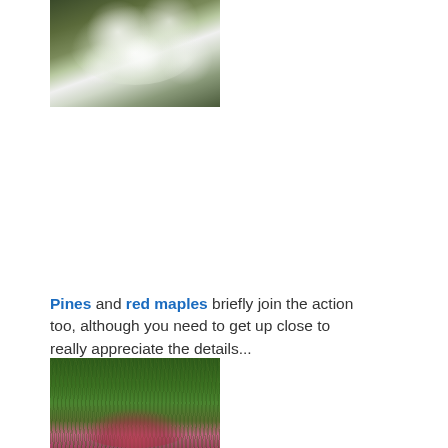[Figure (photo): Photo of white blossoms on tree branches with dark green leaves in background]
Pines and red maples briefly join the action too, although you need to get up close to really appreciate the details...
[Figure (photo): Close-up photo of pine needles radiating outward with pink/purple pine flower or cone emerging from center]